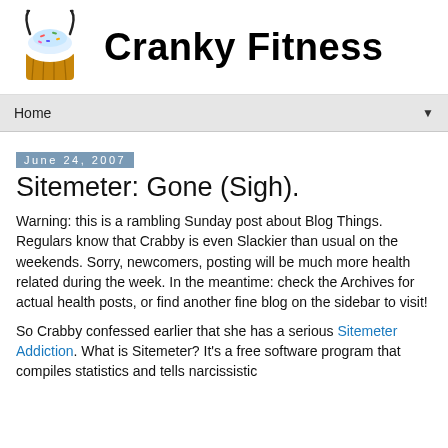Cranky Fitness
[Figure (illustration): Cupcake with horns logo for Cranky Fitness blog]
Home
June 24, 2007
Sitemeter: Gone (Sigh).
Warning: this is a rambling Sunday post about Blog Things. Regulars know that Crabby is even Slackier than usual on the weekends. Sorry, newcomers, posting will be much more health related during the week. In the meantime: check the Archives for actual health posts, or find another fine blog on the sidebar to visit!
So Crabby confessed earlier that she has a serious Sitemeter Addiction. What is Sitemeter? It's a free software program that compiles statistics and tells narcissistic